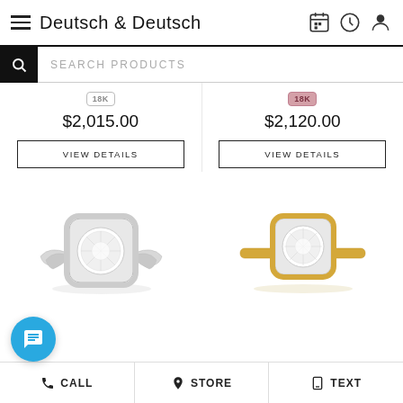Deutsch & Deutsch
SEARCH PRODUCTS
18K $2,015.00
18K $2,120.00
VIEW DETAILS
VIEW DETAILS
[Figure (photo): Silver diamond halo engagement ring with twisted band]
[Figure (photo): Yellow gold diamond halo engagement ring with simple band]
CALL  STORE  TEXT